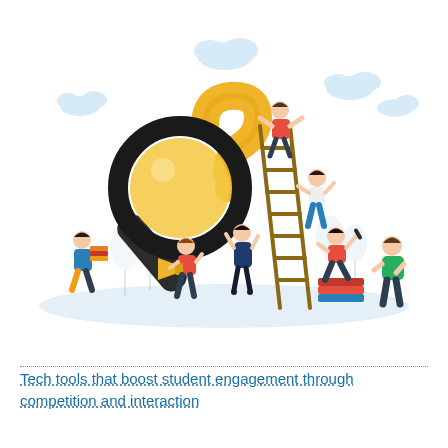[Figure (illustration): Flat vector illustration showing several diverse cartoon figures interacting with oversized objects representing learning and discovery: a large magnifying glass overlapping a large yellow question mark, a wooden ladder leaning against the question mark with a person in red climbing it and a woman in blue climbing partway up, a woman in blue coat carrying books walking left, a man in red holding a megaphone, a woman in dark blue dress reaching up, a woman in red top dancing on a stack of books, a man in green standing to the right, and abstract pale trees in the background with light blue clouds. The ground plane is a soft blue-grey ellipse shadow.]
Tech tools that boost student engagement through competition and interaction